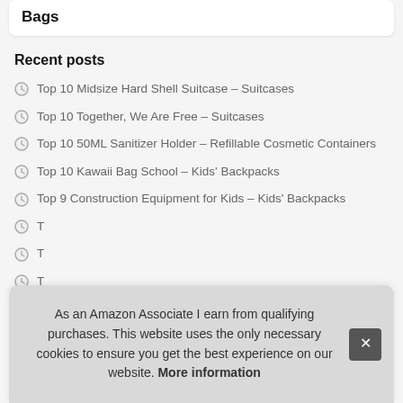Bags
Recent posts
Top 10 Midsize Hard Shell Suitcase – Suitcases
Top 10 Together, We Are Free – Suitcases
Top 10 50ML Sanitizer Holder – Refillable Cosmetic Containers
Top 10 Kawaii Bag School – Kids' Backpacks
Top 9 Construction Equipment for Kids – Kids' Backpacks
T…
T…
T…
As an Amazon Associate I earn from qualifying purchases. This website uses the only necessary cookies to ensure you get the best experience on our website. More information